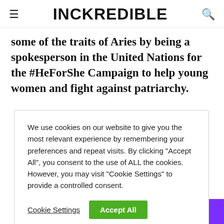INCKREDIBLE
some of the traits of Aries by being a spokesperson in the United Nations for the #HeForShe Campaign to help young women and fight against patriarchy.
We use cookies on our website to give you the most relevant experience by remembering your preferences and repeat visits. By clicking "Accept All", you consent to the use of ALL the cookies. However, you may visit "Cookie Settings" to provide a controlled consent.
Cookie Settings  Accept All